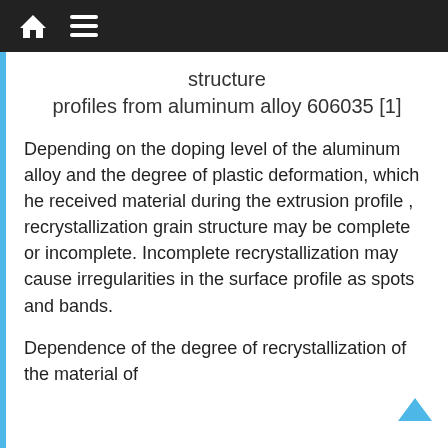structure
profiles from aluminum alloy 606035 [1]
Depending on the doping level of the aluminum alloy and the degree of plastic deformation, which he received material during the extrusion profile , recrystallization grain structure may be complete or incomplete. Incomplete recrystallization may cause irregularities in the surface profile as spots and bands.
Dependence of the degree of recrystallization of the material of